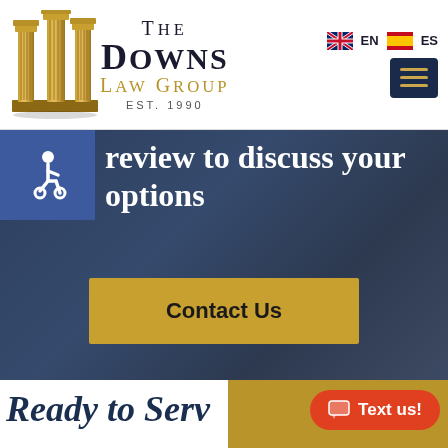[Figure (logo): The Downs Law Group logo with gold columns, black serif text, gold 'Law Group' subtitle, EST. 1990]
The Downs Law Group EST. 1990
[Figure (other): Navigation area with EN and ES language flags and hamburger menu button]
review to discuss your options
[Figure (other): Contact Us gold button]
[Figure (other): Text us! red pill button]
Ready to Serv